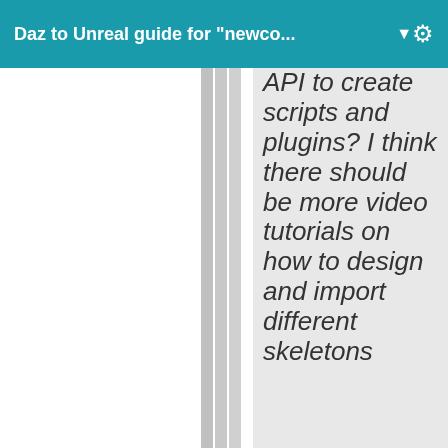Daz to Unreal guide for "newco... ▼
API to create scripts and plugins? I think there should be more video tutorials on how to design and import different skeletons